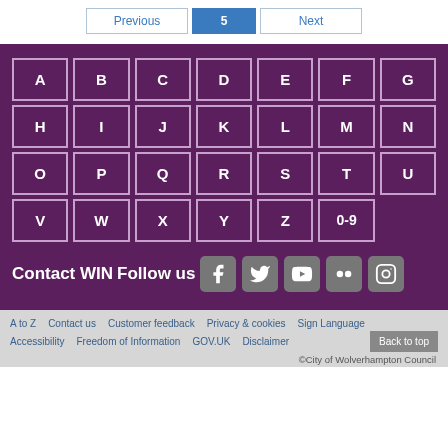Previous | 5 | Next
[Figure (other): Alphabet A-Z and 0-9 navigation grid on purple background, plus Contact WIN and Follow us social icons (Facebook, Twitter, YouTube, Flickr, Instagram)]
A to Z | Contact us | Customer feedback | Privacy & cookies | Sign Language | Accessibility | Freedom of Information | GOV.UK | Disclaimer | Back to top | ©City of Wolverhampton Council